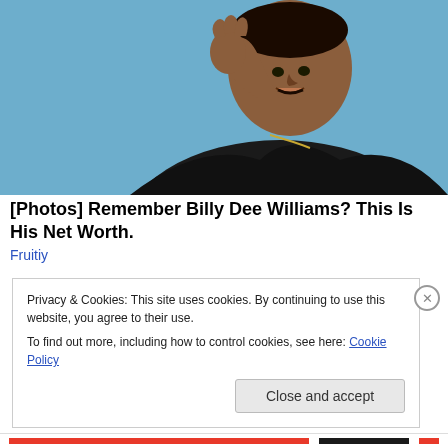[Figure (photo): Portrait photo of Billy Dee Williams, a Black man wearing a black shirt and gold chain necklace, smiling with hand raised near face, against a light blue background]
[Photos] Remember Billy Dee Williams? This Is His Net Worth.
Fruitiy
Privacy & Cookies: This site uses cookies. By continuing to use this website, you agree to their use.
To find out more, including how to control cookies, see here: Cookie Policy
Close and accept